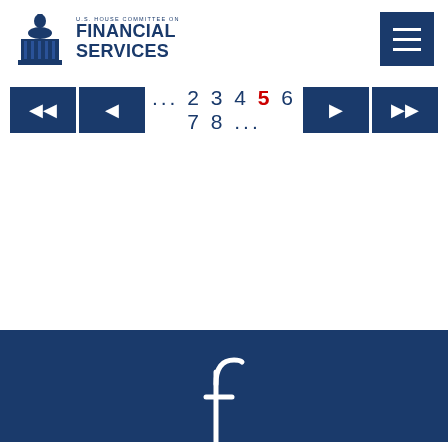[Figure (logo): U.S. House Committee on Financial Services logo with capitol building icon and text]
[Figure (other): Hamburger menu button (three horizontal bars) on dark navy background]
... 2 3 4 5 6 7 8 ... (pagination, 5 is current page in red)
[Figure (other): Dark navy footer bar with Facebook icon (f) in white]